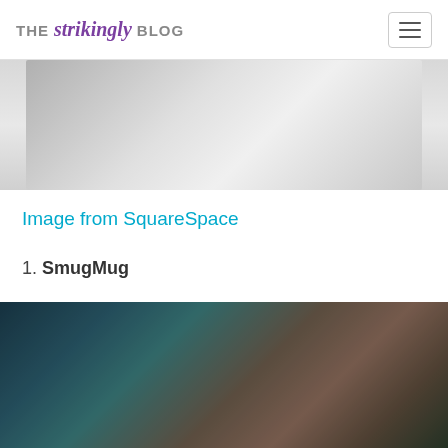THE strikingly BLOG
[Figure (photo): Partially visible blurred image from a previous section, showing a light gray abstract background]
Image from SquareSpace
1. SmugMug
[Figure (photo): Blurred dark atmospheric photo with teal, brown and green tones, partially cropped at bottom]